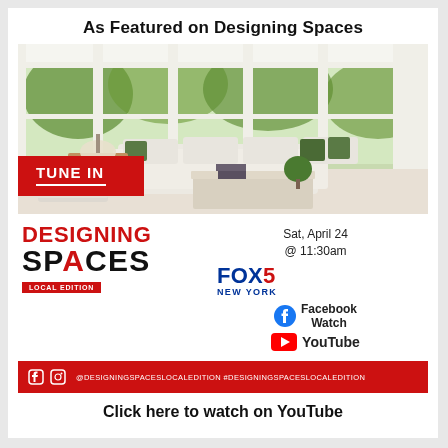As Featured on Designing Spaces
[Figure (photo): Bright white living room with large windows, white sectional sofa with green throw pillows, a wooden side table with a lamp, a glass coffee table, green topiary plant. Red 'TUNE IN' banner overlay in bottom left.]
[Figure (logo): Designing Spaces Local Edition logo in red and black text]
Sat, April 24 @ 11:30am
[Figure (logo): FOX 5 New York logo in blue and red]
[Figure (logo): Facebook Watch logo with Facebook icon]
[Figure (logo): YouTube logo with play button icon]
@DESIGNINGSPACESLOCALEDITION  #DESIGNINGSPACESLOCALEDITION
Click here to watch on YouTube